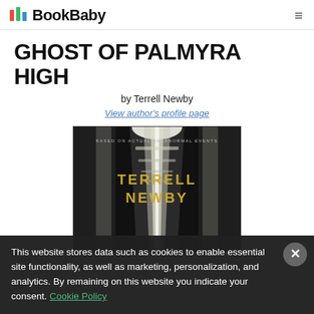BookBaby
GHOST OF PALMYRA HIGH
by Terrell Newby
View author's profile page
[Figure (photo): Book cover for Ghost of Palmyra High by Terrell Newby. Dark atmospheric hallway image with text 'BASED ON ACTUAL PARANORMAL EVENTS' at top and author name 'TERRELL NEWBY' in gold lettering.]
This website stores data such as cookies to enable essential site functionality, as well as marketing, personalization, and analytics. By remaining on this website you indicate your consent. Cookie Policy